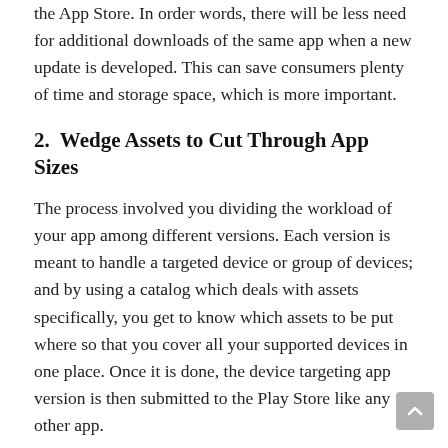the App Store. In order words, there will be less need for additional downloads of the same app when a new update is developed. This can save consumers plenty of time and storage space, which is more important.
2.  Wedge Assets to Cut Through App Sizes
The process involved you dividing the workload of your app among different versions. Each version is meant to handle a targeted device or group of devices; and by using a catalog which deals with assets specifically, you get to know which assets to be put where so that you cover all your supported devices in one place. Once it is done, the device targeting app version is then submitted to the Play Store like any other app.
3. Bringing Them All Together